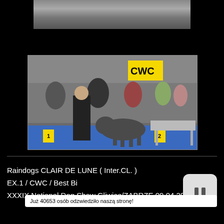[Figure (photo): Top cropped photo showing people's legs and feet on a light-colored floor/pavement]
[Figure (photo): Dog show photo at an indoor venue. A large grey Irish Wolfhound dog being shown by a handler in a black jacket. Background shows spectators and a yellow CWC sign. Blue floor mat visible. Yellow number signs 1 and 2 visible.]
Raindogs CLAIR DE LUNE ( Inter.CL. )
EX.1 / CWC / Best Bitch BOB
XXXIX National Dog Show Gliwice/ZABRZE 09.04.2017
Już 40653 osób odzwiedziło naszą stronę!